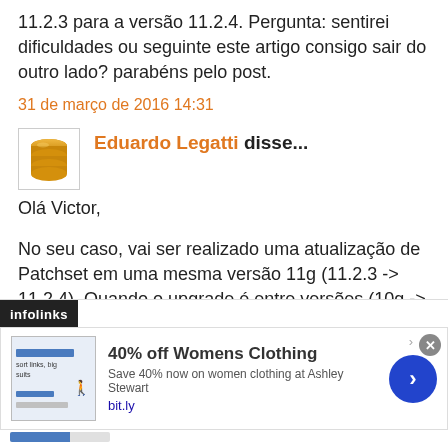11.2.3 para a versão 11.2.4. Pergunta: sentirei dificuldades ou seguinte este artigo consigo sair do outro lado? parabéns pelo post.
31 de março de 2016 14:31
Eduardo Legatti disse...
Olá Victor,
No seu caso, vai ser realizado uma atualização de Patchset em uma mesma versão 11g (11.2.3 -> 11.2.4). Quando o upgrade é entre versões (10g -> 11g) pode ser mais trabalhoso, mas requer os mesmos cuidados. Ler o
[Figure (infographic): Advertisement banner: infolinks bar at top, ad for '40% off Womens Clothing' from Ashley Stewart, with image placeholder, description text 'Save 40% now on women clothing at Ashley Stewart', link 'bit.ly', blue arrow button, close button, and progress bar at bottom.]